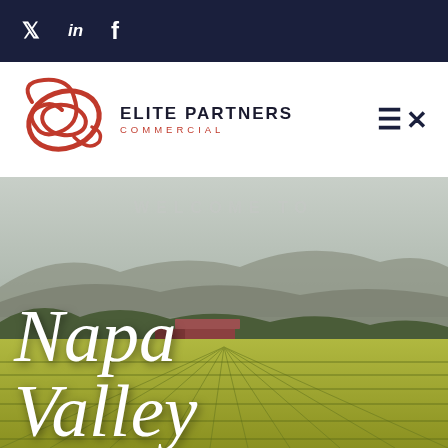Social icons: Twitter, LinkedIn, Facebook
[Figure (logo): Elite Partners Commercial logo with red swirl graphic and company name]
[Figure (photo): Aerial view of Napa Valley vineyard with rows of grapevines, farm buildings, trees and mountains in the background. Overlaid text reads WELCOME TO (faded) and Napa Valley in large white cursive script.]